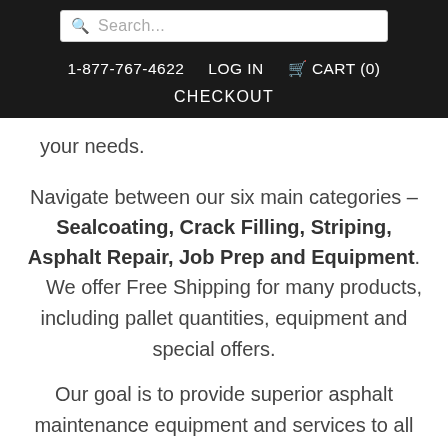Search...
1-877-767-4622  LOG IN  CART (0)  CHECKOUT
your needs.
Navigate between our six main categories – Sealcoating, Crack Filling, Striping, Asphalt Repair, Job Prep and Equipment. We offer Free Shipping for many products, including pallet quantities, equipment and special offers.
Our goal is to provide superior asphalt maintenance equipment and services to all our customers, making sure customers who need us are helped quickly and completely.